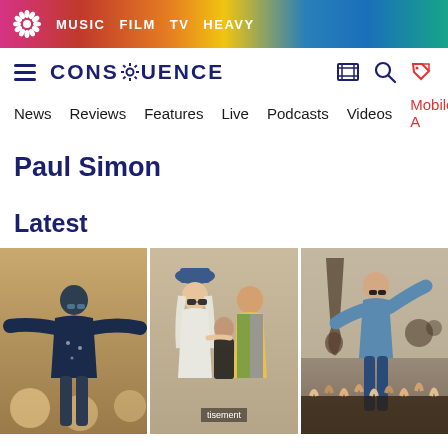MUSIC  FILM  TV  HEAVY
[Figure (screenshot): Consequence of Sound website logo with hamburger menu, search and tag icons]
News  Reviews  Features  Live  Podcasts  Videos  Mobile A
Paul Simon
Latest
[Figure (photo): Three concert photos side by side: left shows a performer with arms spread on stage, middle shows two older artists together with a bald man, right shows a performer on stage with crowd]